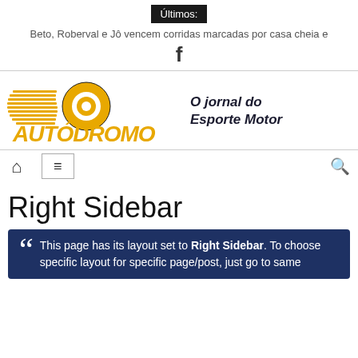Últimos:
Beto, Roberval e Jô vencem corridas marcadas por casa cheia e
[Figure (logo): Facebook 'f' icon]
[Figure (logo): Autódromo - O jornal do Esporte Motor logo with golden stylized car/speed graphic]
[Figure (infographic): Navigation bar with home icon, hamburger menu box, and search icon]
Right Sidebar
This page has its layout set to Right Sidebar. To choose specific layout for specific page/post, just go to same